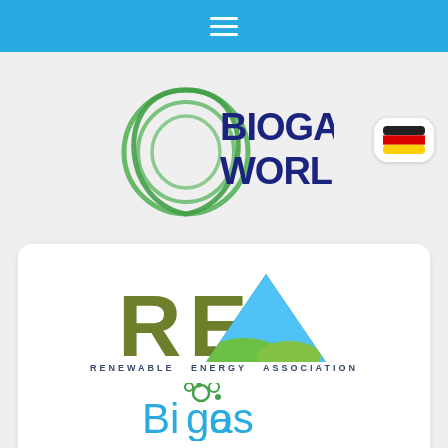[Figure (logo): Navigation bar with hamburger menu icon on blue background]
[Figure (logo): Biogas World logo — green swirl/leaf circular emblem with dark blue bold text BIOGAS WORLD]
[Figure (logo): German flag icon in rounded white button]
[Figure (logo): REA Renewable Energy Association logo with large green R, E and triangle A with landscape image inside, text RENEWABLE ENERGY ASSOCIATION below]
[Figure (logo): Biogas logo in blue with green circular molecule icon above the letter o]
[Figure (illustration): Partial view of orange/green flame or leaf logo at bottom of page]